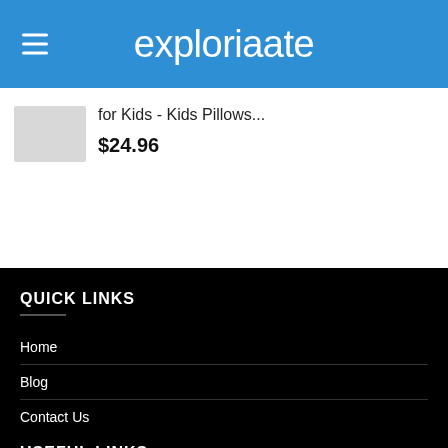exploriaate
for Kids - Kids Pillows...
$24.96
QUICK LINKS
Home
Blog
Contact Us
USEFUL LINKS